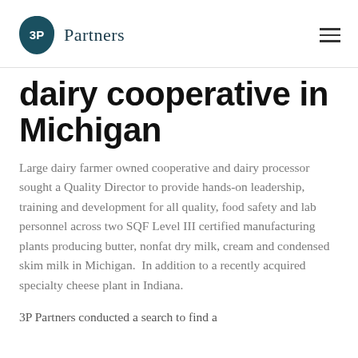3P Partners
dairy cooperative in Michigan
Large dairy farmer owned cooperative and dairy processor sought a Quality Director to provide hands-on leadership, training and development for all quality, food safety and lab personnel across two SQF Level III certified manufacturing plants producing butter, nonfat dry milk, cream and condensed skim milk in Michigan.  In addition to a recently acquired specialty cheese plant in Indiana.
3P Partners conducted a search to find a candidate to place...